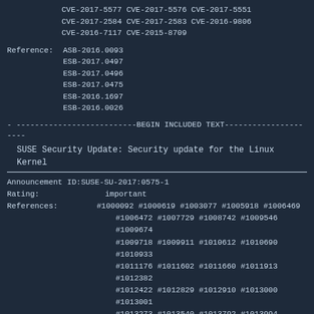CVE-2017-5577 CVE-2017-5576 CVE-2017-5551 CVE-2017-2584 CVE-2017-2583 CVE-2016-9806 CVE-2016-7117 CVE-2015-8709
Reference: ASB-2016.0093 ESB-2017.0497 ESB-2017.0496 ESB-2017.0475 ESB-2016.1697 ESB-2016.0026
- ---------------------------BEGIN INCLUDED TEXT---------------------
SUSE Security Update: Security update for the Linux Kernel
Announcement ID: SUSE-SU-2017:0575-1
Rating: important
References: #1000092 #1000619 #1003077 #1005918 #1006469 #1006472 #1007729 #1008742 #1009546 #1009674 #1009718 #1009911 #1010612 #1010690 #1010933 #1011176 #1011602 #1011660 #1011913 #1012382 #1012422 #1012829 #1012910 #1013000 #1013001 #1013273 #1013540 #1013792 #1013994 #1014120 #1014410 #1015038 #1015367 #1015840 #1016250 #1016403 #1016517 #1016884 #1016979 #1017164 #1017170 #1017410 #1018100 #1018316 #1018358 #1018446 #1018813 #1018913 #1019061 #1019148 #1019168 #1019260 #1019351 #1019594 #1019630 #1019631 #1019784 #1019851 #1020048 #1020214 #1020488 #1020602 #1020685 #1020817 #1020945 #1020975 #1021082 #1021248 #1021251 #1021258